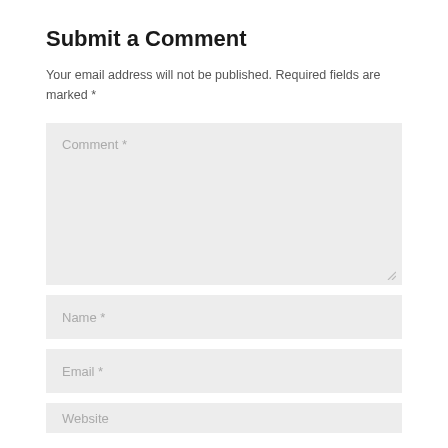Submit a Comment
Your email address will not be published. Required fields are marked *
[Figure (screenshot): Web form with Comment textarea (placeholder: Comment *), Name input field (placeholder: Name *), Email input field (placeholder: Email *), and partially visible Website input field (placeholder: Website). All fields have light gray background.]